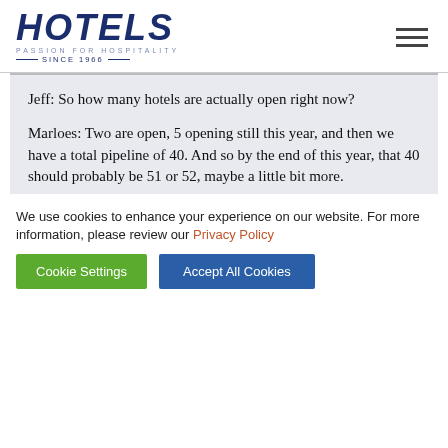HOTELS PASSION FOR HOSPITALITY SINCE 1966
Jeff: So how many hotels are actually open right now?
Marloes: Two are open, 5 opening still this year, and then we have a total pipeline of 40. And so by the end of this year, that 40 should probably be 51 or 52, maybe a little bit more.
We use cookies to enhance your experience on our website. For more information, please review our Privacy Policy
Cookie Settings   Accept All Cookies